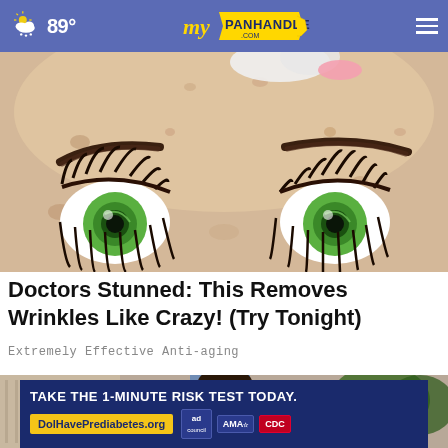☁ 89° | myPanhandle.com
[Figure (illustration): Cartoon illustration of a woman's face close-up with green eyes, long eyelashes, eyebrows, and skin showing freckles/spots. A white towel or cloth is visible at the top.]
Doctors Stunned: This Removes Wrinkles Like Crazy! (Try Tonight)
Extremely Effective Anti-aging
[Figure (photo): Photo of a smiling woman with dark hair, in an indoor/outdoor setting with blue door and trees visible in background.]
TAKE THE 1-MINUTE RISK TEST TODAY. DolHavePrediabetes.org | ad | AMA | CDC